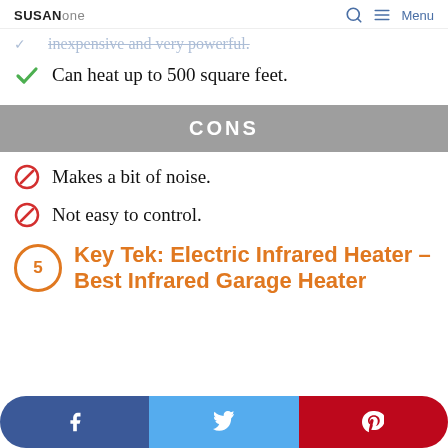SUSANHOME [search] [menu] Menu
inexpensive and very powerful.
Can heat up to 500 square feet.
CONS
Makes a bit of noise.
Not easy to control.
5 Key Tek: Electric Infrared Heater – Best Infrared Garage Heater
Share buttons: Facebook, Twitter, Pinterest